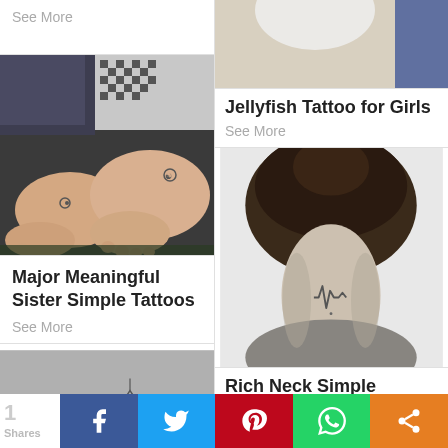See More
[Figure (photo): Photo of two people's feet/ankles showing small tattoos, wearing dark jeans and checkered fabric]
Major Meaningful Sister Simple Tattoos
See More
[Figure (photo): Partial photo cropped at top of page - right column top]
Jellyfish Tattoo for Girls
See More
[Figure (photo): Black and white photo of back of woman's neck with small heartbeat/EKG tattoo, hair up in bun]
Rich Neck Simple Tattoos
See More
[Figure (photo): Partial photo at bottom left - close-up of skin with small geometric tattoo]
1 Share — Facebook, Twitter, Pinterest, WhatsApp, More